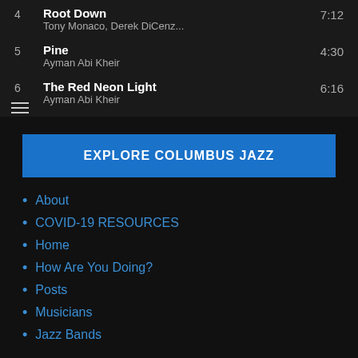4  Root Down  7:12
Tony Monaco, Derek DiCenz...
5  Pine  4:30
Ayman Abi Kheir
6  The Red Neon Light  6:16
Ayman Abi Kheir
EXPLORE COLUMBUS JAZZ
About
COVID-19 RESOURCES
Home
How Are You Doing?
Posts
Musicians
Jazz Bands